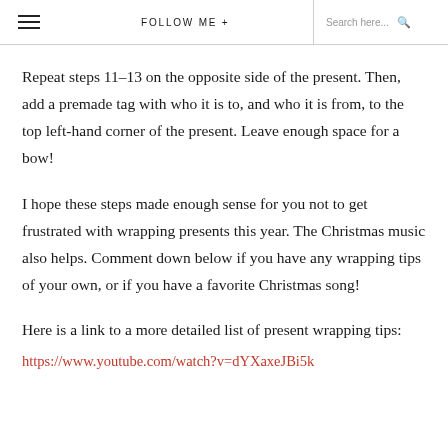FOLLOW ME +  Search here...
Repeat steps 11–13 on the opposite side of the present. Then, add a premade tag with who it is to, and who it is from, to the top left-hand corner of the present. Leave enough space for a bow!
I hope these steps made enough sense for you not to get frustrated with wrapping presents this year. The Christmas music also helps. Comment down below if you have any wrapping tips of your own, or if you have a favorite Christmas song!
Here is a link to a more detailed list of present wrapping tips:
https://www.youtube.com/watch?v=dYXaxeJBi5k